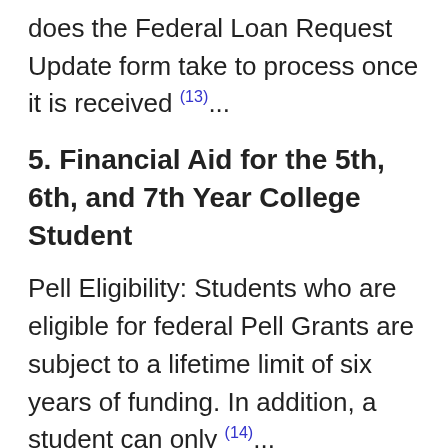does the Federal Loan Request Update form take to process once it is received (13)...
5. Financial Aid for the 5th, 6th, and 7th Year College Student
Pell Eligibility: Students who are eligible for federal Pell Grants are subject to a lifetime limit of six years of funding. In addition, a student can only (14)...
How the FAFSA helps students get federal and state financial aid, including...